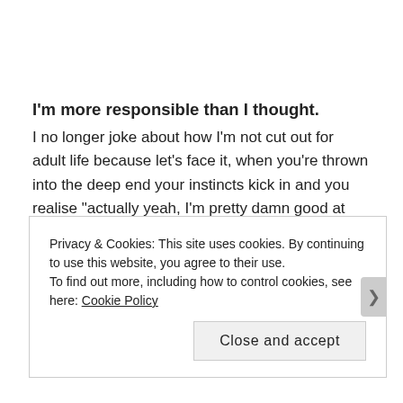I'm more responsible than I thought.
I no longer joke about how I'm not cut out for adult life because let's face it, when you're thrown into the deep end your instincts kick in and you realise “actually yeah, I'm pretty damn good at this whole adulting thing”.
I'm broodier than I thought.
This one makes me laugh because although I don't want a
Privacy & Cookies: This site uses cookies. By continuing to use this website, you agree to their use.
To find out more, including how to control cookies, see here: Cookie Policy
Close and accept